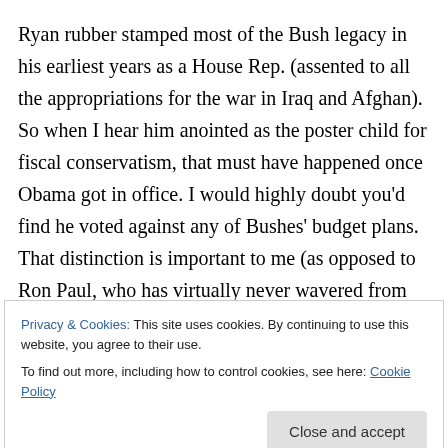Ryan rubber stamped most of the Bush legacy in his earliest years as a House Rep. (assented to all the appropriations for the war in Iraq and Afghan). So when I hear him anointed as the poster child for fiscal conservatism, that must have happened once Obama got in office. I would highly doubt you'd find he voted against any of Bushes' budget plans. That distinction is important to me (as opposed to Ron Paul, who has virtually never wavered from his fiscal stance, and has consistently argued that economic growth should be what we are
Privacy & Cookies: This site uses cookies. By continuing to use this website, you agree to their use.
To find out more, including how to control cookies, see here: Cookie Policy